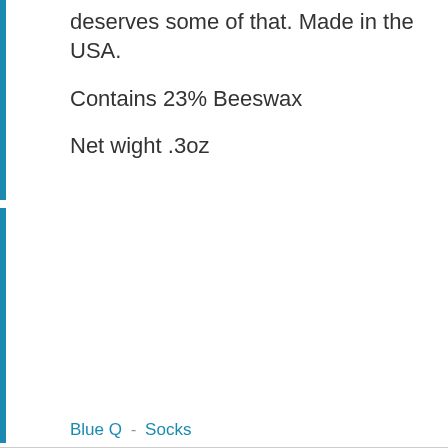deserves some of that. Made in the USA.
Contains 23% Beeswax
Net wight .3oz
Blue Q  -  Socks
[Figure (photo): Two dark gray crew socks with skull and crossbones pattern and yellow-green striped cuff bands]
Blue Q Men's Socks